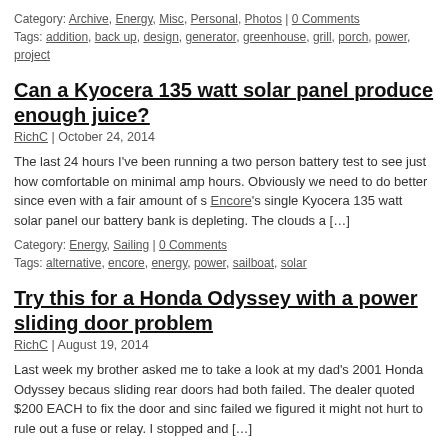Category: Archive, Energy, Misc, Personal, Photos | 0 Comments
Tags: addition, back up, design, generator, greenhouse, grill, porch, power, project
Can a Kyocera 135 watt solar panel produce enough juice?
RichC | October 24, 2014
The last 24 hours I've been running a two person battery test to see just how comfortable on minimal amp hours. Obviously we need to do better since even with a fair amount of s Encore's single Kyocera 135 watt solar panel our battery bank is depleting. The clouds a [...]
Category: Energy, Sailing | 0 Comments
Tags: alternative, encore, energy, power, sailboat, solar
Try this for a Honda Odyssey with a power sliding door problem
RichC | August 19, 2014
Last week my brother asked me to take a look at my dad's 2001 Honda Odyssey because sliding rear doors had both failed. The dealer quoted $200 EACH to fix the door and sinc failed we figured it might not hurt to rule out a fuse or relay. I stopped and [...]
Category: Advice, Automotive, How-To | 5 Comments
Tags: doors, honda, minivan, odyssey, power, repair, sliding
Replacing the 2 batteries in my APC unit with 1 car battery
RichC | May 12, 2014
I've about had it with replacing the TWO small and expensive 6 volt batteries that are pa